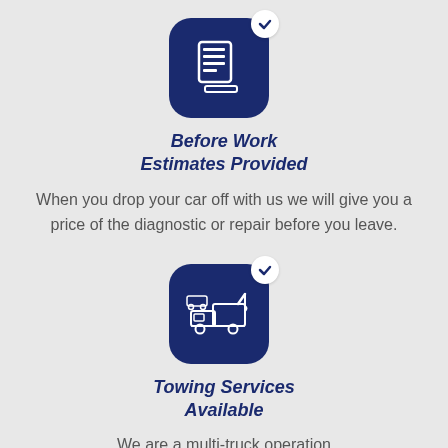[Figure (illustration): Dark navy blue rounded square icon with a document/clipboard graphic and a white checkmark badge in the top right corner]
Before Work Estimates Provided
When you drop your car off with us we will give you a price of the diagnostic or repair before you leave.
[Figure (illustration): Dark navy blue rounded square icon with a tow truck graphic and a white checkmark badge in the top right corner]
Towing Services Available
We are a multi-truck operation